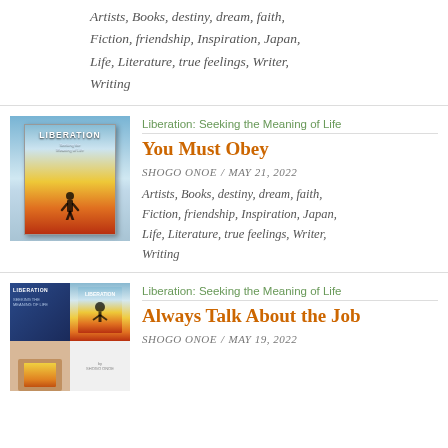Artists, Books, destiny, dream, faith, Fiction, friendship, Inspiration, Japan, Life, Literature, true feelings, Writer, Writing
Liberation: Seeking the Meaning of Life
You Must Obey
SHOGO ONOE / MAY 21, 2022
Artists, Books, destiny, dream, faith, Fiction, friendship, Inspiration, Japan, Life, Literature, true feelings, Writer, Writing
Liberation: Seeking the Meaning of Life
Always Talk About the Job
SHOGO ONOE / MAY 19, 2022